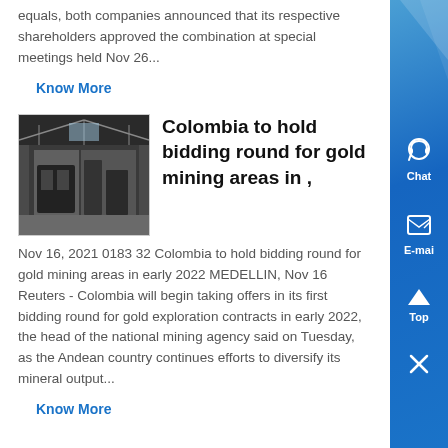equals, both companies announced that its respective shareholders approved the combination at special meetings held Nov 26...
Know More
[Figure (photo): Industrial building interior with equipment, dark tones]
Colombia to hold bidding round for gold mining areas in ,
Nov 16, 2021 0183 32 Colombia to hold bidding round for gold mining areas in early 2022 MEDELLIN, Nov 16 Reuters - Colombia will begin taking offers in its first bidding round for gold exploration contracts in early 2022, the head of the national mining agency said on Tuesday, as the Andean country continues efforts to diversify its mineral output...
Know More